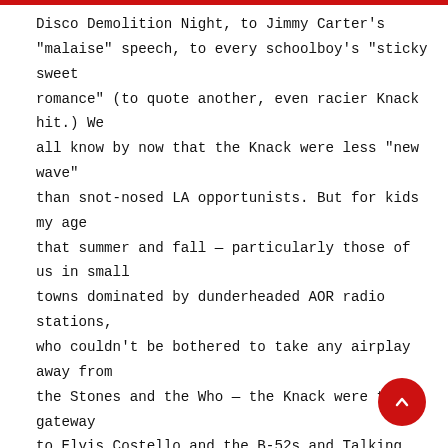Disco Demolition Night, to Jimmy Carter's "malaise" speech, to every schoolboy's "sticky sweet romance" (to quote another, even racier Knack hit.) We all know by now that the Knack were less "new wave" than snot-nosed LA opportunists. But for kids my age that summer and fall — particularly those of us in small towns dominated by dunderheaded AOR radio stations, who couldn't be bothered to take any airplay away from the Stones and the Who — the Knack were the gateway to Elvis Costello and the B-52s and Talking Heads and the Ramones. So we owe them that, at least.
Dw. Dunphy – You ask someone who is perhaps 25 years or younger, they'll know The Knack as the band that did "My Sharona" and not much else. It is a very unfair circumstance, especially when you actually hear the